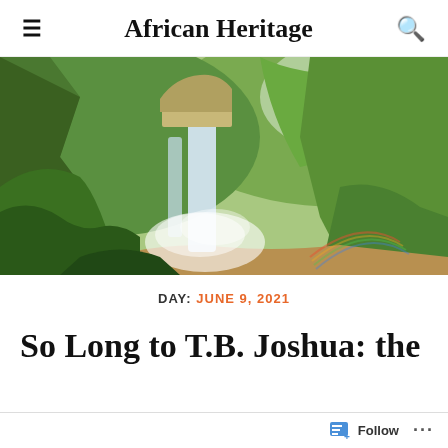African Heritage
[Figure (photo): A tropical waterfall surrounded by dense green jungle vegetation, with mist rising from the base and a small rainbow visible in the lower right. A river flows below.]
DAY: JUNE 9, 2021
So Long to T.B. Joshua: the City Pastor